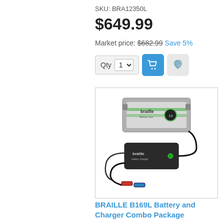SKU: BRA12350L
$649.99
Market price: $682.99 Save 5%
[Figure (photo): Photo of Braille B169L Battery and Charger Combo Package — a compact silver/green lithium battery unit stacked above a black battery charger with cables and red/blue clamps.]
BRAILLE B169L Battery and Charger Combo Package